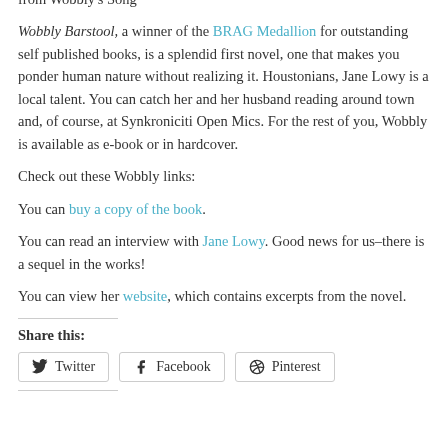from Wobbly's Song
Wobbly Barstool, a winner of the BRAG Medallion for outstanding self published books, is a splendid first novel, one that makes you ponder human nature without realizing it. Houstonians, Jane Lowy is a local talent. You can catch her and her husband reading around town and, of course, at Synkroniciti Open Mics. For the rest of you, Wobbly is available as e-book or in hardcover.
Check out these Wobbly links:
You can buy a copy of the book.
You can read an interview with Jane Lowy. Good news for us–there is a sequel in the works!
You can view her website, which contains excerpts from the novel.
Share this:
Twitter  Facebook  Pinterest